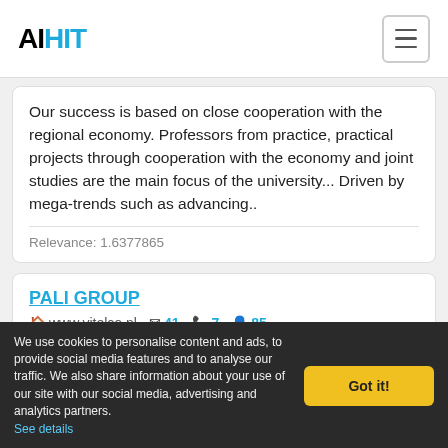AIHIT
Our success is based on close cooperation with the regional economy. Professors from practice, practical projects through cooperation with the economy and joint studies are the main focus of the university... Driven by mega-trends such as advancing..
Relevance: 1.6377865
PALI GROUP
www.vitelco.nl  41  7  85
We think it important that we are able to provide our customers with a personal service, as it gives us a close involvement with each of our business contacts. Simply let us know your requirements and we will make you a
We use cookies to personalise content and ads, to provide social media features and to analyse our traffic. We also share information about your use of our site with our social media, advertising and analytics partners. See details